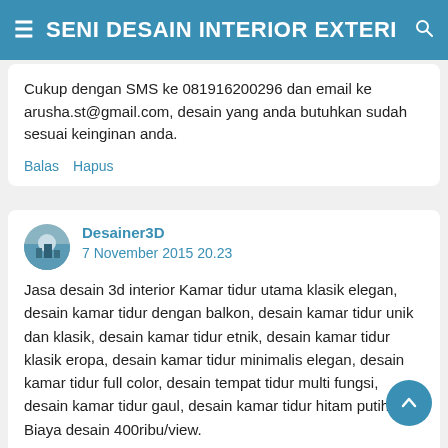SENI DESAIN INTERIOR EXTERI
Cukup dengan SMS ke 081916200296 dan email ke arusha.st@gmail.com, desain yang anda butuhkan sudah sesuai keinginan anda.
Balas   Hapus
Desainer3D
7 November 2015 20.23
Jasa desain 3d interior Kamar tidur utama klasik elegan, desain kamar tidur dengan balkon, desain kamar tidur unik dan klasik, desain kamar tidur etnik, desain kamar tidur klasik eropa, desain kamar tidur minimalis elegan, desain kamar tidur full color, desain tempat tidur multi fungsi, desain kamar tidur gaul, desain kamar tidur hitam putih. Biaya desain 400ribu/view.